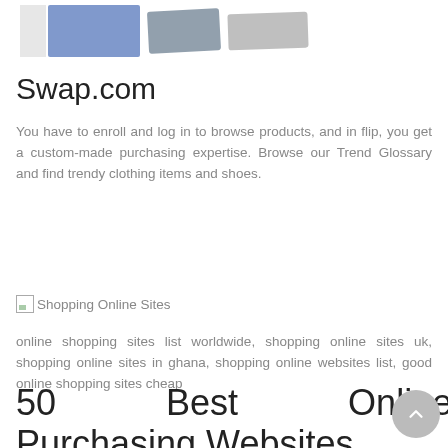[Figure (photo): Partial product images at top of page: clothing/jeans, credit card, and a device/laptop, partially cropped]
Swap.com
You have to enroll and log in to browse products, and in flip, you get a custom-made purchasing expertise. Browse our Trend Glossary and find trendy clothing items and shoes.
[Figure (photo): Broken image placeholder with alt text 'Shopping Online Sites']
online shopping sites list worldwide, shopping online sites uk, shopping online sites in ghana, shopping online websites list, good online shopping sites cheap
50 Best Online Purchasing Websites